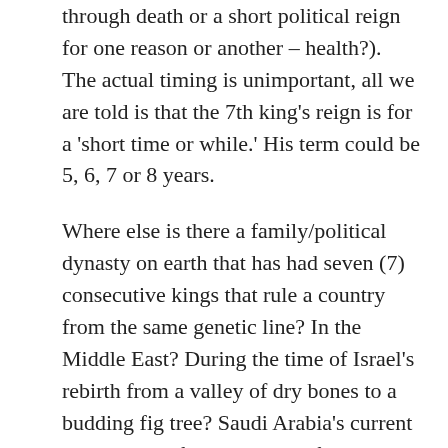through death or a short political reign for one reason or another – health?). The actual timing is unimportant, all we are told is that the 7th king's reign is for a 'short time or while.' His term could be 5, 6, 7 or 8 years.
Where else is there a family/political dynasty on earth that has had seven (7) consecutive kings that rule a country from the same genetic line? In the Middle East? During the time of Israel's rebirth from a valley of dry bones to a budding fig tree? Saudi Arabia's current 7th king and future 8th king fit the Biblical narratives set forth by the Word of God. 7th and 8th kings from the bottomless pit of evil, money, power, influence, corruption (5 Satanic influences). MBS is prince when he confirms the covenant. MBS becomes an Antichrist when he is worshiped as a mujaddid by Muslims, and then becomes the worldwide Antichrist when he is indwelt by Satan